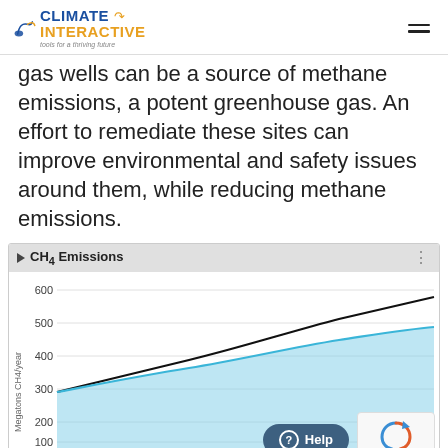Climate Interactive — tools for a thriving future
gas wells can be a source of methane emissions, a potent greenhouse gas. An effort to remediate these sites can improve environmental and safety issues around them, while reducing methane emissions.
[Figure (line-chart): Line chart showing CH4 emissions over time. Two lines: black line (baseline) rising from ~325 to ~575 Megatons CH4/year; blue line (policy scenario) rising from ~325 to ~505 Megatons CH4/year. Y-axis: 0 to 600. X-axis shows years from approximately 2000 to 2100.]